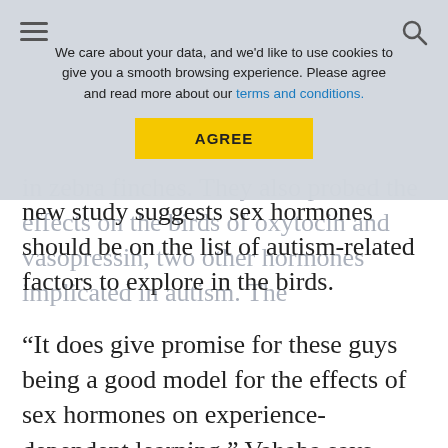[Figure (screenshot): Cookie consent banner overlay with hamburger menu icon, search icon, text 'We care about your data, and we'd like to use cookies to give you a smooth browsing experience. Please agree and read more about our terms and conditions.' and a yellow AGREE button]
in zebra finches. They also probed the effects on the birds of oxytocin and vasopressin, two other hormones implicated in autism. The new study suggests sex hormones should be on the list of autism-related factors to explore in the birds.
“It does give promise for these guys being a good model for the effects of sex hormones on experience-dependent learning,” Vahaba says.
For more reports from the 2015 Society for